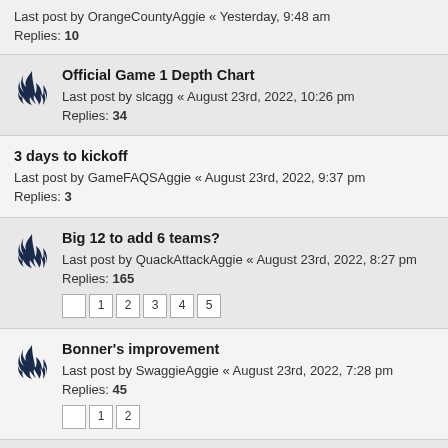Last post by OrangeCountyAggie « Yesterday, 9:48 am
Replies: 10
Official Game 1 Depth Chart
Last post by slcagg « August 23rd, 2022, 10:26 pm
Replies: 34
3 days to kickoff
Last post by GameFAQSAggie « August 23rd, 2022, 9:37 pm
Replies: 3
Big 12 to add 6 teams?
Last post by QuackAttackAggie « August 23rd, 2022, 8:27 pm
Replies: 165
Pages: 1 2 3 4 5
Bonner's improvement
Last post by SwaggieAggie « August 23rd, 2022, 7:28 pm
Replies: 45
Pages: 1 2
New Unis?
Last post by LKGates « August 23rd, 2022, 4:49 pm
Replies: 32
A contest: Ags in the NFL 2022
Last post by aggies22 « August 23rd, 2022, 4:40 pm
Replies: 11
Week 0 question.
Last post by Full « August 23rd, 2022, 4:25 pm